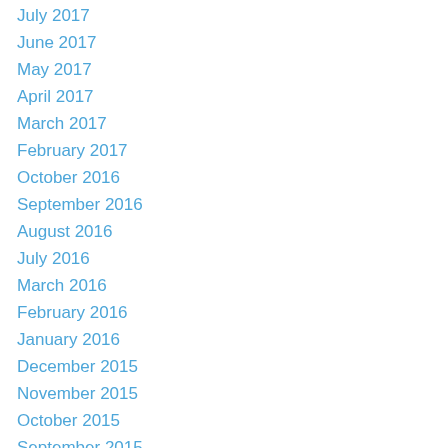July 2017
June 2017
May 2017
April 2017
March 2017
February 2017
October 2016
September 2016
August 2016
July 2016
March 2016
February 2016
January 2016
December 2015
November 2015
October 2015
September 2015
May 2015
April 2015
March 2015